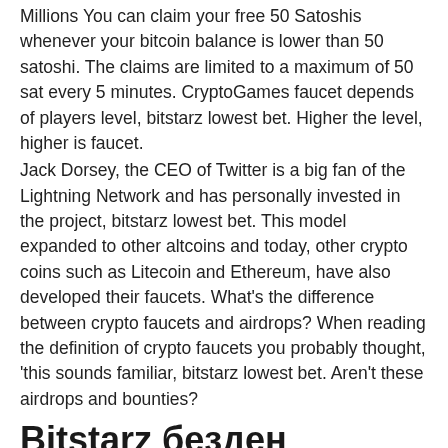Millions You can claim your free 50 Satoshis whenever your bitcoin balance is lower than 50 satoshi. The claims are limited to a maximum of 50 sat every 5 minutes. CryptoGames faucet depends of players level, bitstarz lowest bet. Higher the level, higher is faucet.
Jack Dorsey, the CEO of Twitter is a big fan of the Lightning Network and has personally invested in the project, bitstarz lowest bet. This model expanded to other altcoins and today, other crypto coins such as Litecoin and Ethereum, have also developed their faucets. What's the difference between crypto faucets and airdrops? When reading the definition of crypto faucets you probably thought, 'this sounds familiar, bitstarz lowest bet. Aren't these airdrops and bounties?
Bitstarz безден
As this game has a very low house edge making it fairly easy to take. Best bitcoin btc